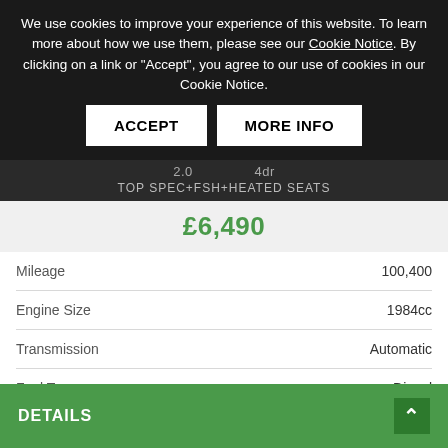We use cookies to improve your experience of this website. To learn more about how we use them, please see our Cookie Notice. By clicking on a link or "Accept", you agree to our use of cookies in our Cookie Notice.
ACCEPT | MORE INFO
2.0 ... 4dr TOP SPEC+FSH+HEATED SEATS
£6,490
|  |  |
| --- | --- |
| Mileage | 100,400 |
| Engine Size | 1984cc |
| Transmission | Automatic |
| Fuel Type | Diesel |
| No. of doors | 4 |
| Colour | Black |
DETAILS